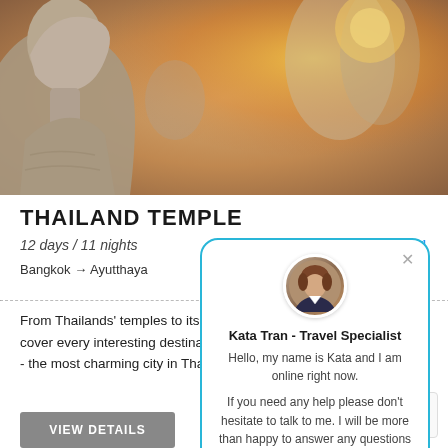[Figure (photo): Stone Buddha statues in warm golden/amber light, Thailand temple setting. Close-up of side profile of a stone statue head with more statues blurred in background.]
THAILAND TEMPLE
12 days / 11 nights
T01
Bangkok → Ayutthaya
From Thailands' temples to its beaches, this tour will be sure you cover every interesting destination in the country. Intimate Bangkok - the most charming city in Thailand...
[Figure (screenshot): Chat popup widget showing agent Kata Tran - Travel Specialist with greeting message: 'Hello, my name is Kata and I am online right now. If you need any help please don't hesitate to talk to me. I will be more than happy to answer any questions you may have!']
VIEW DETAILS
Handcrafted Travel